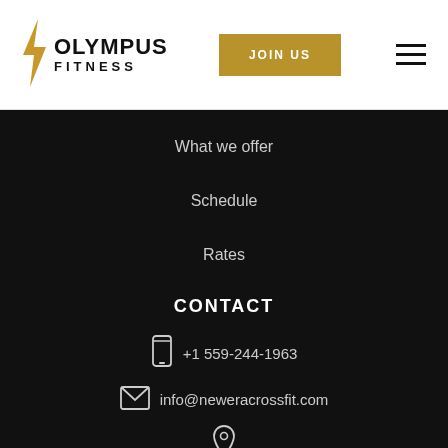[Figure (logo): Olympus Fitness logo with lightning bolt and JOIN US button and hamburger menu]
What we offer
Schedule
Rates
CONTACT
+1 559-244-1963
info@neweracrossfit.com
Olympus Fitness